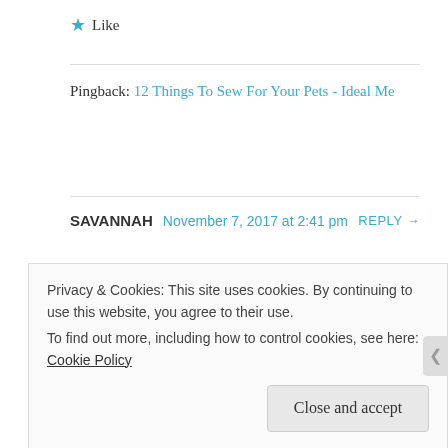★ Like
Pingback: 12 Things To Sew For Your Pets - Ideal Me
SAVANNAH   November 7, 2017 at 2:41 pm   REPLY →
Hello, loved the toutorial! Was wondering if you sell them!
Privacy & Cookies: This site uses cookies. By continuing to use this website, you agree to their use.
To find out more, including how to control cookies, see here: Cookie Policy
Close and accept